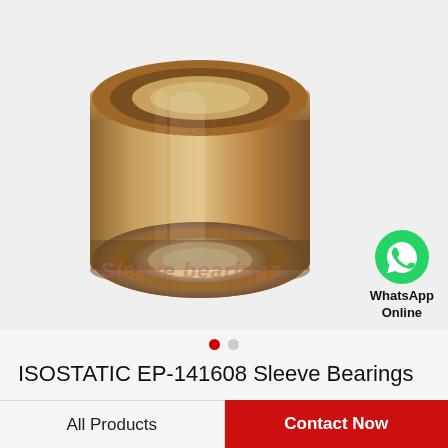[Figure (photo): Bronze sleeve bearing/bushing shown at an angle, cylindrical shape with hollow interior, metallic brown/bronze color. Watermark text 'Sleeve bearings' overlaid in red-pink italic text.]
WhatsApp Online
ISOSTATIC EP-141608 Sleeve Bearings
All Products
Contact Now